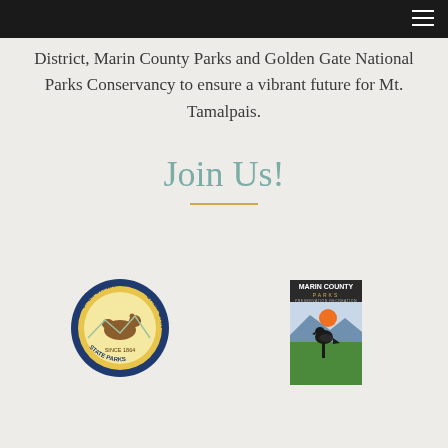District, Marin County Parks and Golden Gate National Parks Conservancy to ensure a vibrant future for Mt. Tamalpais.
Join Us!
[Figure (logo): California State Parks circular seal logo with bear and text CALIFORNIA STATE PARKS SINCE 1864]
[Figure (logo): Marin County Parks logo with bird silhouette, sun, and green landscape. Text reads MARIN COUNTY PARKS PRESERVATION RECREATION]